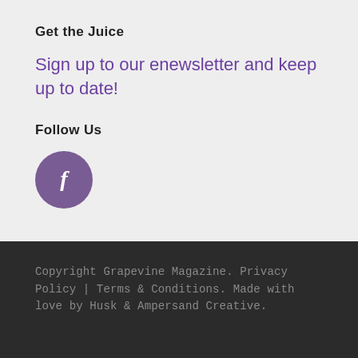Get the Juice
Sign up to our enewsletter and keep up to date!
Follow Us
[Figure (other): Purple circular Facebook icon button with white letter f]
Copyright Grapevine Magazine. Privacy Policy | Terms & Conditions. Made with love by Husk & Ampersand Creative.